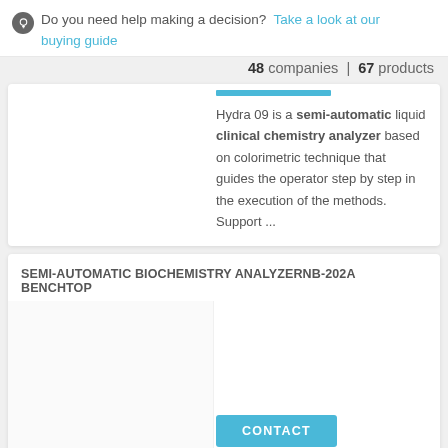Do you need help making a decision? Take a look at our buying guide
48 companies | 67 products
Hydra 09 is a semi-automatic liquid clinical chemistry analyzer based on colorimetric technique that guides the operator step by step in the execution of the methods. Support ...
SEMI-AUTOMATIC BIOCHEMISTRY ANALYZERNB-202A BENCHTOP
Holographic grating photometry -- àNo moving parts --à Reduction to a minimum of mechanical failure 7.0˝ TFT . Large color LCD display